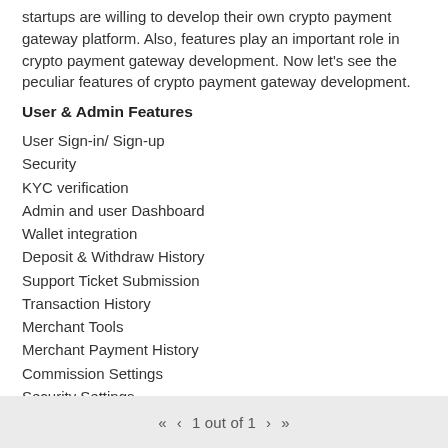startups are willing to develop their own crypto payment gateway platform. Also, features play an important role in crypto payment gateway development. Now let's see the peculiar features of crypto payment gateway development.
User & Admin Features
User Sign-in/ Sign-up
Security
KYC verification
Admin and user Dashboard
Wallet integration
Deposit & Withdraw History
Support Ticket Submission
Transaction History
Merchant Tools
Merchant Payment History
Commission Settings
Security Settings
Content Management System
The above features are essential to developing a crypto payment
1 out of 1